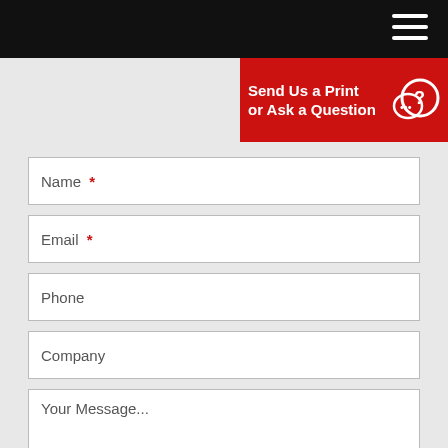Navigation bar with hamburger menu
[Figure (other): Red banner with text 'Send Us a Print or Ask a Question' and a speech bubble with question mark icon]
Name *
Email *
Phone
Company
Your Message...
Attach Drawing:
Browse...
.jpg, .png, .gif, .pdf, .dwg
Type the Characters: *